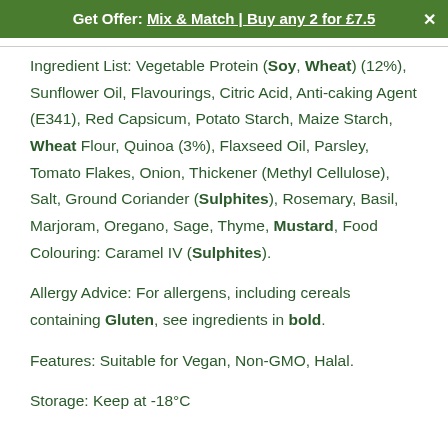Get Offer: Mix & Match | Buy any 2 for £7.5
Ingredient List: Vegetable Protein (Soy, Wheat) (12%), Sunflower Oil, Flavourings, Citric Acid, Anti-caking Agent (E341), Red Capsicum, Potato Starch, Maize Starch, Wheat Flour, Quinoa (3%), Flaxseed Oil, Parsley, Tomato Flakes, Onion, Thickener (Methyl Cellulose), Salt, Ground Coriander (Sulphites), Rosemary, Basil, Marjoram, Oregano, Sage, Thyme, Mustard, Food Colouring: Caramel IV (Sulphites).
Allergy Advice: For allergens, including cereals containing Gluten, see ingredients in bold.
Features: Suitable for Vegan, Non-GMO, Halal.
Storage: Keep at -18°C